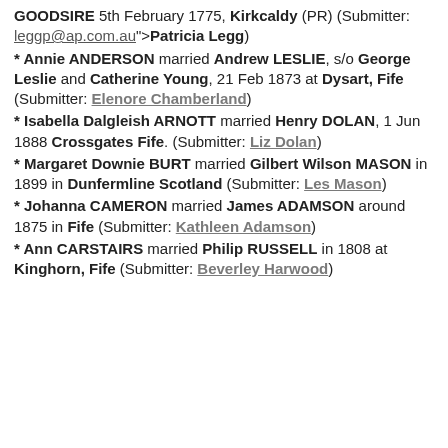GOODSIRE 5th February 1775, Kirkcaldy (PR) (Submitter: leggp@ap.com.au">Patricia Legg)
* Annie ANDERSON married Andrew LESLIE, s/o George Leslie and Catherine Young, 21 Feb 1873 at Dysart, Fife (Submitter: Elenore Chamberland)
* Isabella Dalgleish ARNOTT married Henry DOLAN, 1 Jun 1888 Crossgates Fife. (Submitter: Liz Dolan)
* Margaret Downie BURT married Gilbert Wilson MASON in 1899 in Dunfermline Scotland (Submitter: Les Mason)
* Johanna CAMERON married James ADAMSON around 1875 in Fife (Submitter: Kathleen Adamson)
* Ann CARSTAIRS married Philip RUSSELL in 1808 at Kinghorn, Fife (Submitter: Beverley Harwood)